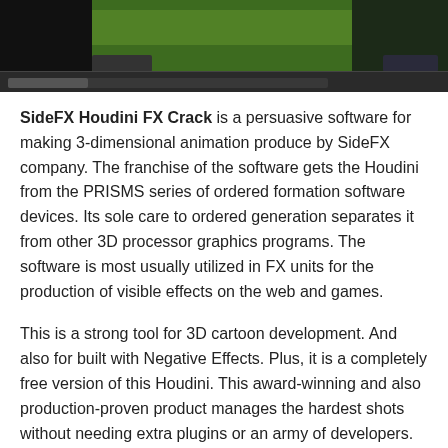[Figure (screenshot): Screenshot of SideFX Houdini FX software interface showing a 3D viewport with green terrain/environment and timeline bar at the bottom]
SideFX Houdini FX Crack is a persuasive software for making 3-dimensional animation produce by SideFX company. The franchise of the software gets the Houdini from the PRISMS series of ordered formation software devices. Its sole care to ordered generation separates it from other 3D processor graphics programs. The software is most usually utilized in FX units for the production of visible effects on the web and games.
This is a strong tool for 3D cartoon development. And also for built with Negative Effects. Plus, it is a completely free version of this Houdini. This award-winning and also production-proven product manages the hardest shots without needing extra plugins or an army of developers. Film production centers can depend on Houdini Master. That will help them create great feature picture effects and character animation. The rate increases in Houdini 1 to